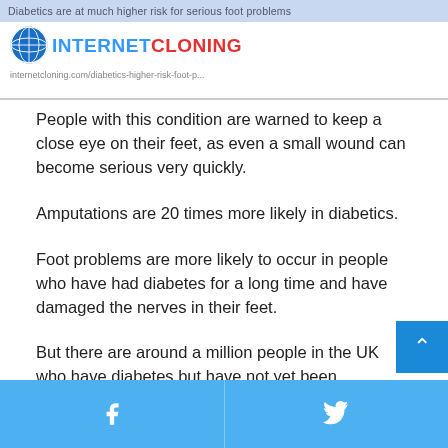Diabetics are at much higher risk for serious foot problems
[Figure (logo): Internet Cloning logo with globe icon]
People with this condition are warned to keep a close eye on their feet, as even a small wound can become serious very quickly.
Amputations are 20 times more likely in diabetics.
Foot problems are more likely to occur in people who have had diabetes for a long time and have damaged the nerves in their feet.
But there are around a million people in the UK who have diabetes but have not yet been diagnosed.
Facebook share | Twitter share